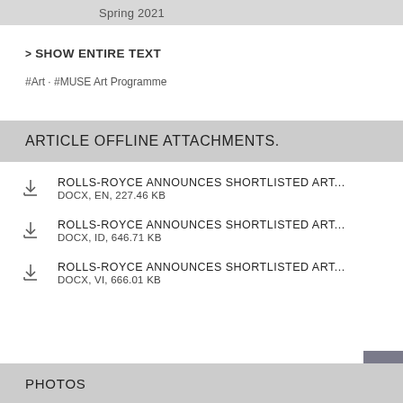Spring 2021
> SHOW ENTIRE TEXT
#Art · #MUSE Art Programme
ARTICLE OFFLINE ATTACHMENTS.
ROLLS-ROYCE ANNOUNCES SHORTLISTED ART... DOCX, EN, 227.46 KB
ROLLS-ROYCE ANNOUNCES SHORTLISTED ART... DOCX, ID, 646.71 KB
ROLLS-ROYCE ANNOUNCES SHORTLISTED ART... DOCX, VI, 666.01 KB
PHOTOS